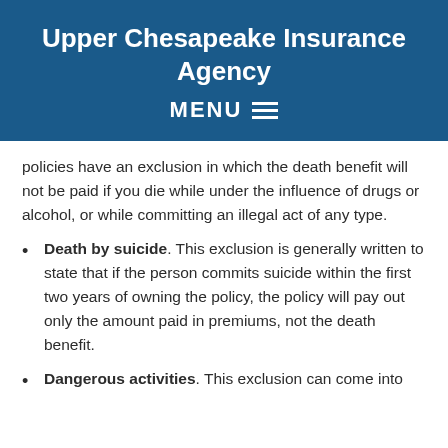Upper Chesapeake Insurance Agency
MENU
policies have an exclusion in which the death benefit will not be paid if you die while under the influence of drugs or alcohol, or while committing an illegal act of any type.
Death by suicide. This exclusion is generally written to state that if the person commits suicide within the first two years of owning the policy, the policy will pay out only the amount paid in premiums, not the death benefit.
Dangerous activities. This exclusion can come into